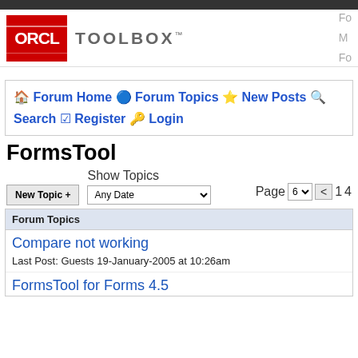[Figure (logo): ORCL Toolbox logo with red background and white text, followed by TOOLBOX in grey letters]
Fo M Fo
🏠 Forum Home 🔵 Forum Topics ⭐ New Posts 🔍 Search ☑ Register 🔑 Login
FormsTool
New Topic +  Show Topics  Any Date  Page 6 < 1 4
Forum Topics
Compare not working
Last Post: Guests 19-January-2005 at 10:26am
FormsTool for Forms 4.5